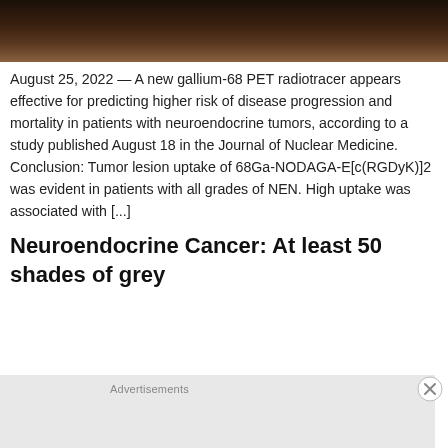[Figure (photo): Dark sepia-toned banner image, appears to show chairs or seating in dim lighting]
August 25, 2022 — A new gallium-68 PET radiotracer appears effective for predicting higher risk of disease progression and mortality in patients with neuroendocrine tumors, according to a study published August 18 in the Journal of Nuclear Medicine. Conclusion: Tumor lesion uptake of 68Ga-NODAGA-E[c(RGDyK)]2 was evident in patients with all grades of NEN. High uptake was associated with [...]
Neuroendocrine Cancer: At least 50 shades of grey
Advertisements